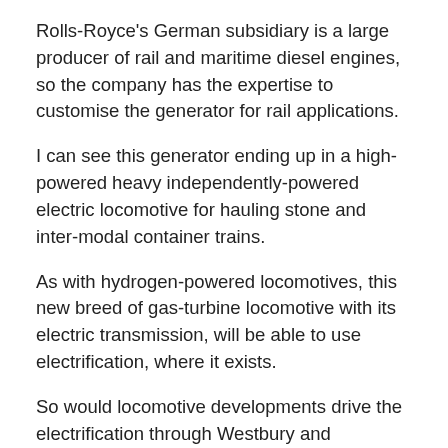Rolls-Royce's German subsidiary is a large producer of rail and maritime diesel engines, so the company has the expertise to customise the generator for rail applications.
I can see this generator ending up in a high-powered heavy independently-powered electric locomotive for hauling stone and inter-modal container trains.
As with hydrogen-powered locomotives, this new breed of gas-turbine locomotive with its electric transmission, will be able to use electrification, where it exists.
So would locomotive developments drive the electrification through Westbury and especially between Westbury and Newbury?
I would rate is likely, that in the future, increasingly rail locomotives will have sophisticated electric transmissions,